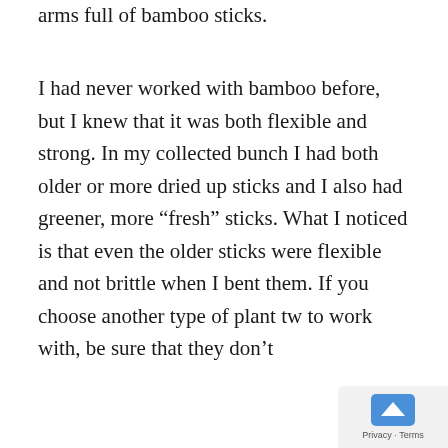arms full of bamboo sticks.
I had never worked with bamboo before, but I knew that it was both flexible and strong. In my collected bunch I had both older or more dried up sticks and I also had greener, more “fresh” sticks. What I noticed is that even the older sticks were flexible and not brittle when I bent them. If you choose another type of plant tw to work with, be sure that they don’t